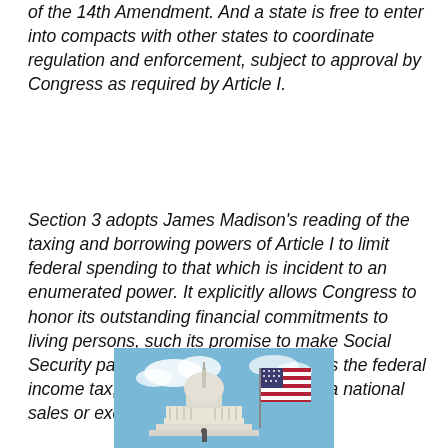of the 14th Amendment. And a state is free to enter into compacts with other states to coordinate regulation and enforcement, subject to approval by Congress as required by Article I.
Section 3 adopts James Madison's reading of the taxing and borrowing powers of Article I to limit federal spending to that which is incident to an enumerated power. It explicitly allows Congress to honor its outstanding financial commitments to living persons, such its promise to make Social Security payments. Section 4 eliminates the federal income tax, after five years, in favor of a national sales or excise tax.
[Figure (photo): Photograph of the United States Capitol building dome with an American flag waving in the foreground against a blue sky with clouds.]